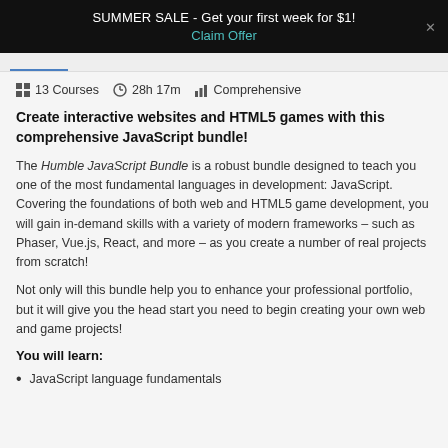SUMMER SALE - Get your first week for $1!
Claim Offer
13 Courses   28h 17m   Comprehensive
Create interactive websites and HTML5 games with this comprehensive JavaScript bundle!
The Humble JavaScript Bundle is a robust bundle designed to teach you one of the most fundamental languages in development: JavaScript. Covering the foundations of both web and HTML5 game development, you will gain in-demand skills with a variety of modern frameworks – such as Phaser, Vue.js, React, and more – as you create a number of real projects from scratch!
Not only will this bundle help you to enhance your professional portfolio, but it will give you the head start you need to begin creating your own web and game projects!
You will learn:
JavaScript language fundamentals